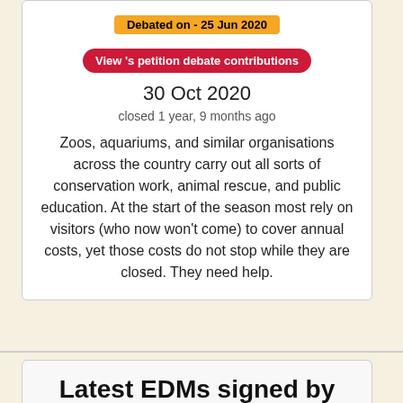Debated on - 25 Jun 2020
View 's petition debate contributions
30 Oct 2020
closed 1 year, 9 months ago
Zoos, aquariums, and similar organisations across the country carry out all sorts of conservation work, animal rescue, and public education. At the start of the season most rely on visitors (who now won't come) to cover annual costs, yet those costs do not stop while they are closed. They need help.
Latest EDMs signed by Catherine McKinnell